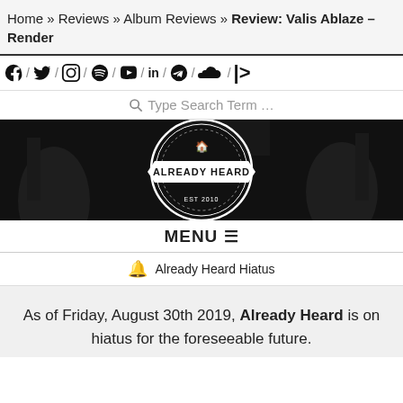Home » Reviews » Album Reviews » Review: Valis Ablaze – Render
[Figure (other): Social media icons row: Facebook, Twitter, Instagram, Spotify, YouTube, LinkedIn, Telegram, SoundCloud, Patreon separated by slashes]
Type Search Term …
[Figure (logo): Already Heard logo — circular badge with text ALREADY HEARD on dark banner background with concert imagery]
MENU ☰
🔔 Already Heard Hiatus
As of Friday, August 30th 2019, Already Heard is on hiatus for the foreseeable future.